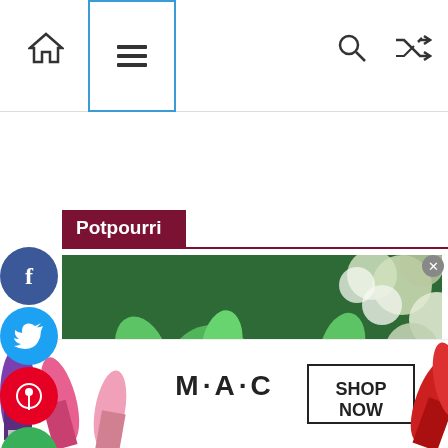[Figure (screenshot): Website navigation bar with home icon, hamburger menu (highlighted with blue border), search icon, and shuffle/random icon]
Potpourri
[Figure (photo): Two people celebrating at a party with green foliage backdrop and balloons. A woman in a white off-shoulder dress and a man in a floral shirt stand in front of a balloon arch and green wall.]
[Figure (photo): MAC cosmetics advertisement showing lipsticks in various colors (purple, pink, red) with MAC logo and 'SHOP NOW' button]